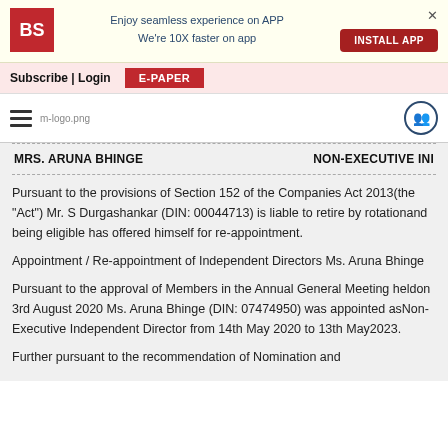[Figure (screenshot): Business Standard app install banner with BS logo, text 'Enjoy seamless experience on APP We're 10X faster on app', INSTALL APP button, and close X]
Subscribe | Login   E-PAPER
[Figure (logo): Hamburger menu, m-logo.png, and share icon navigation bar]
| MRS. ARUNA BHINGE | NON-EXECUTIVE INI |
| --- | --- |
Pursuant to the provisions of Section 152 of the Companies Act 2013(the "Act") Mr. S Durgashankar (DIN: 00044713) is liable to retire by rotationand being eligible has offered himself for re-appointment.
Appointment / Re-appointment of Independent Directors Ms. Aruna Bhinge
Pursuant to the approval of Members in the Annual General Meeting heldon 3rd August 2020 Ms. Aruna Bhinge (DIN: 07474950) was appointed asNon-Executive Independent Director from 14th May 2020 to 13th May2023.
Further pursuant to the recommendation of Nomination and